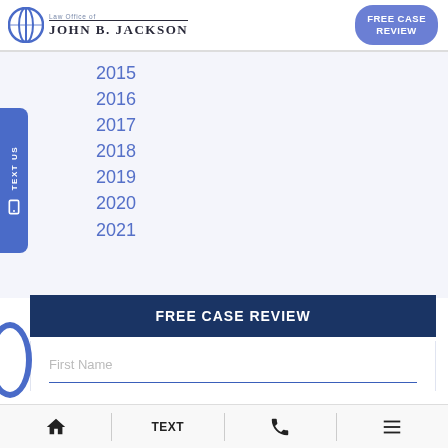Law Office of John B. Jackson — FREE CASE REVIEW
2015
2016
2017
2018
2019
2020
2021
FREE CASE REVIEW
First Name
TEXT